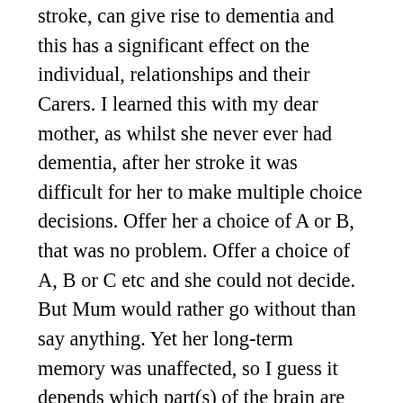stroke, can give rise to dementia and this has a significant effect on the individual, relationships and their Carers. I learned this with my dear mother, as whilst she never ever had dementia, after her stroke it was difficult for her to make multiple choice decisions. Offer her a choice of A or B, that was no problem. Offer a choice of A, B or C etc and she could not decide. But Mum would rather go without than say anything. Yet her long-term memory was unaffected, so I guess it depends which part(s) of the brain are affected.
Something I have noticed and recalled from when I was young is that as we get older, most of us feel the cold more. Some do naturally, but for some folk like me, who are on blood-